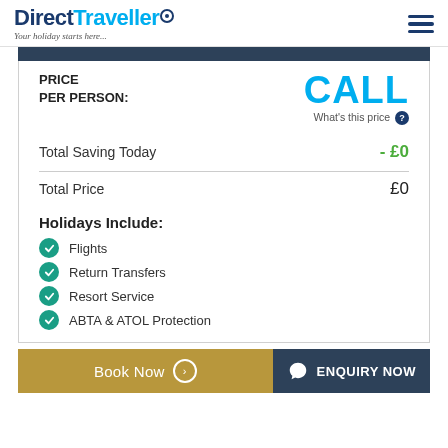Direct Traveller — Your holiday starts here...
PRICE PER PERSON: CALL
What's this price ?
Total Saving Today  - £0
Total Price  £0
Holidays Include:
Flights
Return Transfers
Resort Service
ABTA & ATOL Protection
Book Now   ENQUIRY NOW